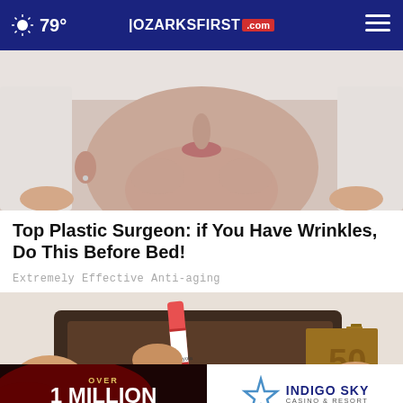79° | OZARKSFIRST.com
[Figure (photo): Close-up photo of a person's lower face with a face mask or skin treatment applied, showing chin and neck area]
Top Plastic Surgeon: if You Have Wrinkles, Do This Before Bed!
Extremely Effective Anti-aging
[Figure (photo): Close-up photo of hands holding a wallet with a red Crayola crayon inserted into it, with currency visible]
[Figure (infographic): Advertisement banner: Over 1 Million Total Cash & Go Rewards Prizes Will Go! alongside Indigo Sky Casino & Resort logo]